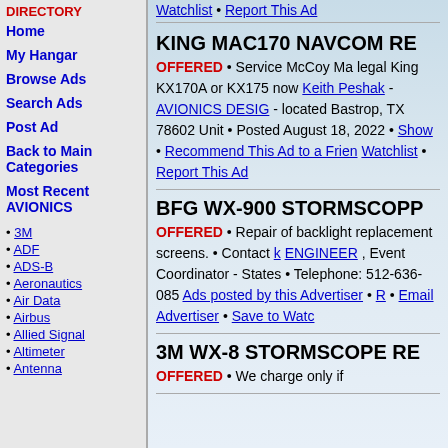DIRECTORY
Home
My Hangar
Browse Ads
Search Ads
Post Ad
Back to Main Categories
Most Recent AVIONICS
3M
ADF
ADS-B
Aeronautics
Air Data
Airbus
Allied Signal
Altimeter
Antenna
Watchlist • Report This Ad
KING MAC170 NAVCOM RE... OFFERED • Service McCoy Ma... legal King KX170A or KX175 now... Keith Peshak - AVIONICS DESIG... - located Bastrop, TX 78602 Unit... • Posted August 18, 2022 • Show... • Recommend This Ad to a Frien... Watchlist • Report This Ad
BFG WX-900 STORMSCOPP... OFFERED • Repair of backlight... replacement screens. • Contact k... ENGINEER , Event Coordinator -... States • Telephone: 512-636-085... Ads posted by this Advertiser • R... • Email Advertiser • Save to Watc...
3M WX-8 STORMSCOPE RE... OFFERED • We charge only if...